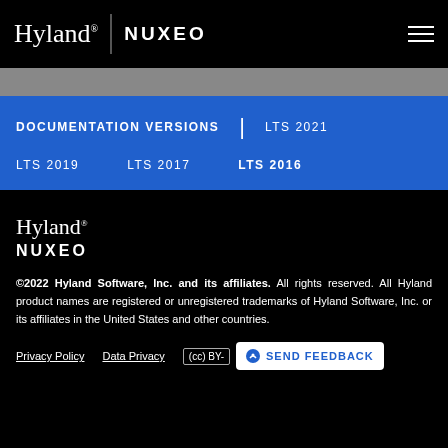Hyland | NUXEO
DOCUMENTATION VERSIONS | LTS 2021 LTS 2019 LTS 2017 LTS 2016
[Figure (logo): Hyland and Nuxeo logos in footer]
©2022 Hyland Software, Inc. and its affiliates. All rights reserved. All Hyland product names are registered or unregistered trademarks of Hyland Software, Inc. or its affiliates in the United States and other countries.
Privacy Policy   Data Privacy   (cc) BY-   SEND FEEDBACK